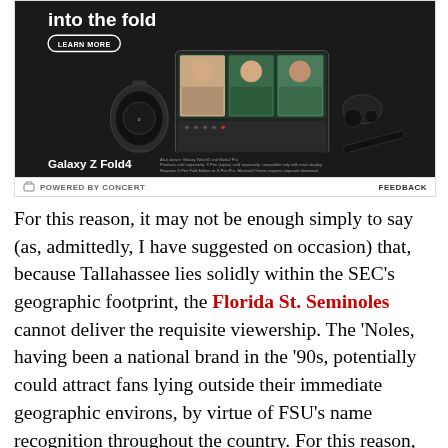[Figure (advertisement): Samsung Galaxy Z Fold4 advertisement showing the phone, Galaxy Watch5, and Buds2 Pro on dark background with 'into the fold' headline and 'LEARN MORE' button, followed by 'POWERED BY CONCERT' and 'FEEDBACK' footer]
For this reason, it may not be enough simply to say (as, admittedly, I have suggested on occasion) that, because Tallahassee lies solidly within the SEC's geographic footprint, the Florida St. Seminoles cannot deliver the requisite viewership. The 'Noles, having been a national brand in the '90s, potentially could attract fans lying outside their immediate geographic environs, by virtue of FSU's name recognition throughout the country. For this reason, the Oklahoma Sooners possess an appeal that goes well